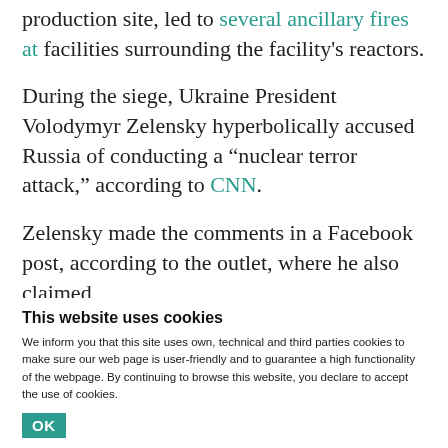production site, led to several ancillary fires at facilities surrounding the facility's reactors.
During the siege, Ukraine President Volodymyr Zelensky hyperbolically accused Russia of conducting a “nuclear terror attack,” according to CNN.
Zelensky made the comments in a Facebook post, according to the outlet, where he also claimed, “Russian tanks are shooting at the atomic blocks
This website uses cookies
We inform you that this site uses own, technical and third parties cookies to make sure our web page is user-friendly and to guarantee a high functionality of the webpage. By continuing to browse this website, you declare to accept the use of cookies.